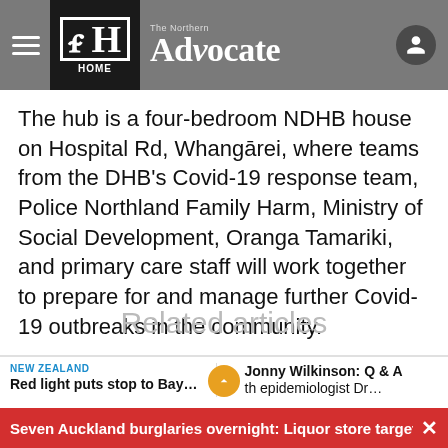The Northern Advocate — HOME
The hub is a four-bedroom NDHB house on Hospital Rd, Whangārei, where teams from the DHB's Covid-19 response team, Police Northland Family Harm, Ministry of Social Development, Oranga Tamariki, and primary care staff will work together to prepare for and manage further Covid-19 outbreaks in the community.
Related articles
NEW ZEALAND
Red light puts stop to Bay…
Jonny Wilkinson: Q & A
th epidemiologist Dr…
Seven Auckland burglaries overnight: Liquor store target